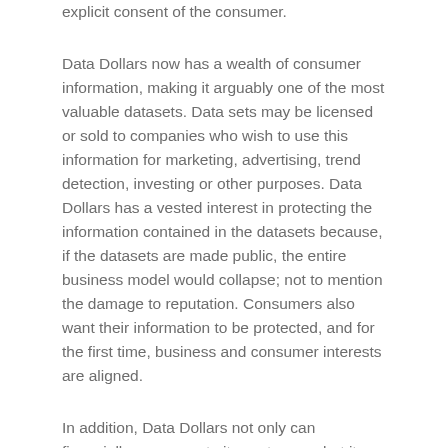explicit consent of the consumer.
Data Dollars now has a wealth of consumer information, making it arguably one of the most valuable datasets. Data sets may be licensed or sold to companies who wish to use this information for marketing, advertising, trend detection, investing or other purposes. Data Dollars has a vested interest in protecting the information contained in the datasets because, if the datasets are made public, the entire business model would collapse; not to mention the damage to reputation. Consumers also want their information to be protected, and for the first time, business and consumer interests are aligned.
In addition, Data Dollars not only can financially compensate its customers, but it can negotiate the terms of use. For example, did you buy a product or service that didn’t perform as you expected? Then you look at the terms and conditions only to find that the company has denied everything, basically saying that if it doesn’t work, nothing here said it would. On behalf of its clients, Data Dollars